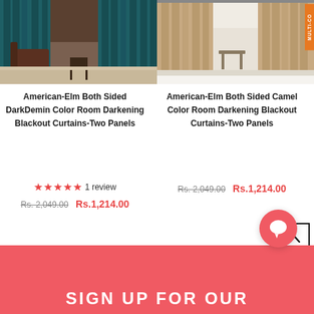[Figure (photo): Dark teal/denim colored blackout curtain panels hanging in a room with brown leather chair]
[Figure (photo): Camel/beige colored blackout curtain panels with multi-color badge in top right corner]
American-Elm Both Sided DarkDemin Color Room Darkening Blackout Curtains-Two Panels
★★★★★ 1 review
Rs. 2,049.00  Rs.1,214.00
American-Elm Both Sided Camel Color Room Darkening Blackout Curtains-Two Panels
Rs. 2,049.00  Rs.1,214.00
[Figure (illustration): Back to top arrow button - square with upward chevron]
SIGN UP FOR OUR